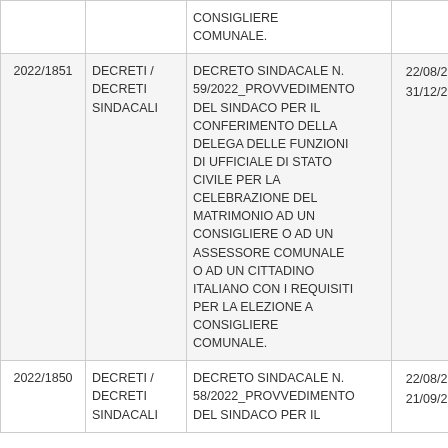| ID | Categoria | Descrizione | Date |  |
| --- | --- | --- | --- | --- |
|  |  | CONSIGLIERE COMUNALE. |  |  |
| 2022/1851 | DECRETI / DECRETI SINDACALI | DECRETO SINDACALE N. 59/2022_PROVVEDIMENTO DEL SINDACO PER IL CONFERIMENTO DELLA DELEGA DELLE FUNZIONI DI UFFICIALE DI STATO CIVILE PER LA CELEBRAZIONE DEL MATRIMONIO AD UN CONSIGLIERE O AD UN ASSESSORE COMUNALE O AD UN CITTADINO ITALIANO CON I REQUISITI PER LA ELEZIONE A CONSIGLIERE COMUNALE. | 22/08/2022 31/12/2028 | 2 |
| 2022/1850 | DECRETI / DECRETI SINDACALI | DECRETO SINDACALE N. 58/2022_PROVVEDIMENTO DEL SINDACO PER IL | 22/08/2022 21/09/2022 | 1 |